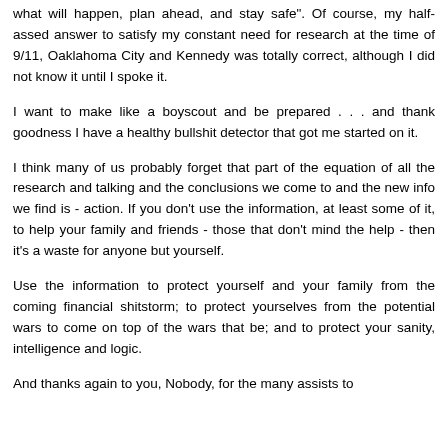what will happen, plan ahead, and stay safe". Of course, my half-assed answer to satisfy my constant need for research at the time of 9/11, Oaklahoma City and Kennedy was totally correct, although I did not know it until I spoke it.
I want to make like a boyscout and be prepared . . . and thank goodness I have a healthy bullshit detector that got me started on it.
I think many of us probably forget that part of the equation of all the research and talking and the conclusions we come to and the new info we find is - action. If you don't use the information, at least some of it, to help your family and friends - those that don't mind the help - then it's a waste for anyone but yourself.
Use the information to protect yourself and your family from the coming financial shitstorm; to protect yourselves from the potential wars to come on top of the wars that be; and to protect your sanity, intelligence and logic.
And thanks again to you, Nobody, for the many assists to